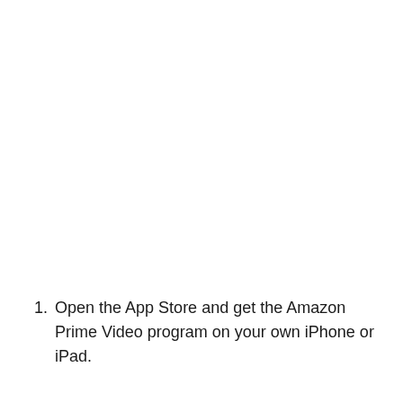1. Open the App Store and get the Amazon Prime Video program on your own iPhone or iPad.